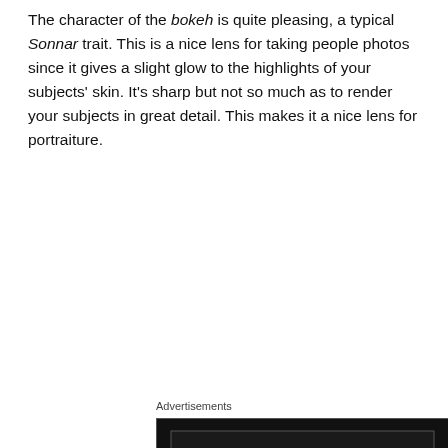The character of the bokeh is quite pleasing, a typical Sonnar trait. This is a nice lens for taking people photos since it gives a slight glow to the highlights of your subjects' skin. It's sharp but not so much as to render your subjects in great detail. This makes it a nice lens for portraiture.
Advertisements
[Figure (other): Longreads advertisement with dark background showing logo, text 'Read anything great lately?' and a red 'Start reading' button]